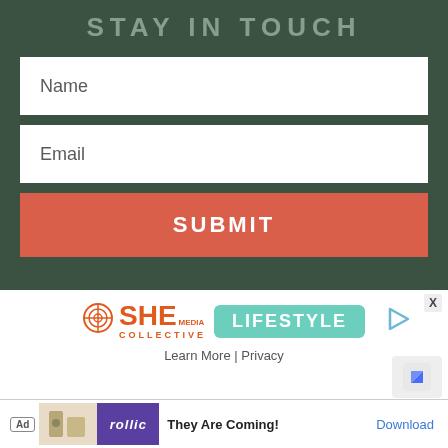STAY IN TOUCH
Name
Email
SUBMIT
[Figure (logo): SHE Media Collective Lifestyle advertisement logo with a play button icon]
Learn More | Privacy
[Figure (screenshot): Mobile ad banner: Ad badge, game image, Rollic logo (purple), 'They Are Coming!' text, Download button, X close button]